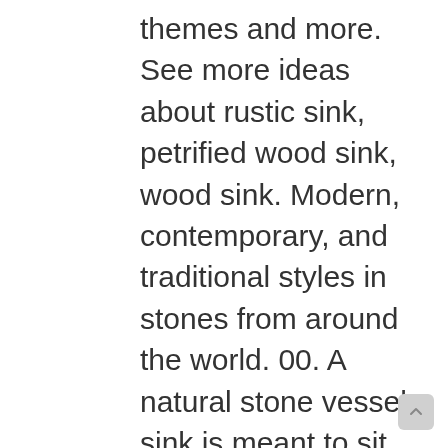themes and more. See more ideas about rustic sink, petrified wood sink, wood sink. Modern, contemporary, and traditional styles in stones from around the world. 00. A natural stone vessel sink is meant to sit on top of your bathroom counter or vanity to show off its organic beauty. Free shipping. Discover (and